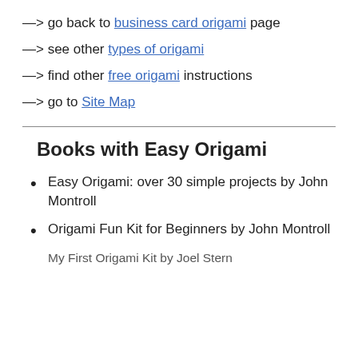—> go back to business card origami page
—> see other types of origami
—> find other free origami instructions
—> go to Site Map
Books with Easy Origami
Easy Origami: over 30 simple projects by John Montroll
Origami Fun Kit for Beginners by John Montroll
My First Origami Kit by Joel Stern